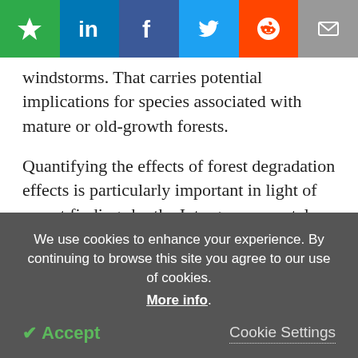[Figure (other): Social sharing toolbar with bookmark (green), LinkedIn (blue), Facebook (dark blue), Twitter (light blue), Reddit (orange), and email (gray) icon buttons]
windstorms. That carries potential implications for species associated with mature or old-growth forests.
Quantifying the effects of forest degradation effects is particularly important in light of recent findings by the Intergovernmental Panel on Biodiversity and Ecosystem Services that indicate the planet is facing a biodiversity crisis, said Betts, who also points to research published in Science that shows bird populations have been showing severe declines across
We use cookies to enhance your experience. By continuing to browse this site you agree to our use of cookies. More info. Accept  Cookie Settings